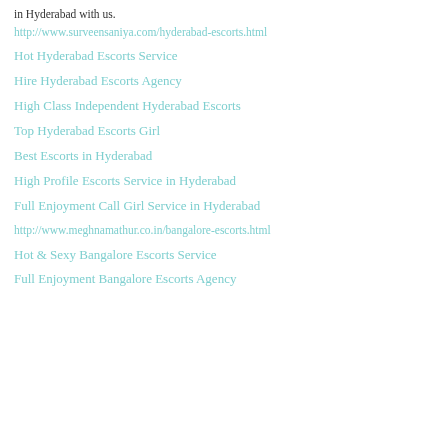in Hyderabad with us.
http://www.surveensaniya.com/hyderabad-escorts.html
Hot Hyderabad Escorts Service
Hire Hyderabad Escorts Agency
High Class Independent Hyderabad Escorts
Top Hyderabad Escorts Girl
Best Escorts in Hyderabad
High Profile Escorts Service in Hyderabad
Full Enjoyment Call Girl Service in Hyderabad
http://www.meghnamathur.co.in/bangalore-escorts.html
Hot & Sexy Bangalore Escorts Service
Full Enjoyment Bangalore Escorts Agency